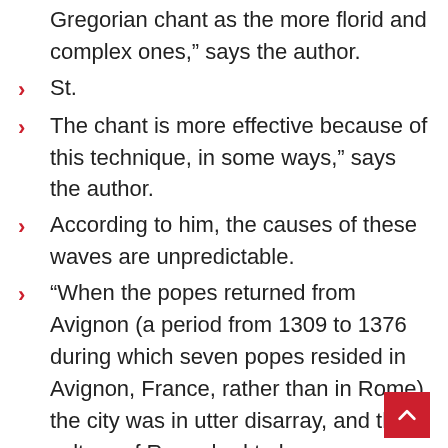Gregorian chant as the more florid and complex ones,” says the author.
St.
The chant is more effective because of this technique, in some ways,” says the author.
According to him, the causes of these waves are unpredictable.
“When the popes returned from Avignon (a period from 1309 to 1376 during which seven popes resided in Avignon, France, rather than in Rome), the city was in utter disarray, and the culture of Rome had to be reconstructed,” he explained.